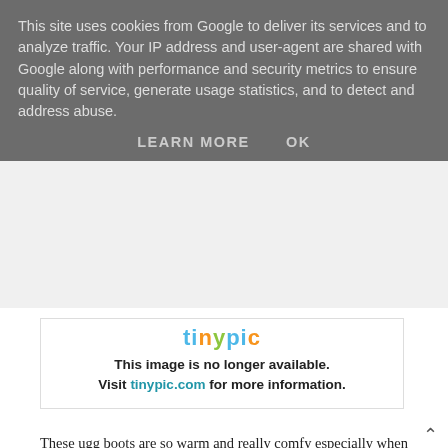This site uses cookies from Google to deliver its services and to analyze traffic. Your IP address and user-agent are shared with Google along with performance and security metrics to ensure quality of service, generate usage statistics, and to detect and address abuse.
LEARN MORE   OK
[Figure (screenshot): Tinypic placeholder image showing colorful 'tinypic' logo text and message: 'This image is no longer available. Visit tinypic.com for more information.']
These ugg boots are so warm and really comfy especially when it's minus 17 degrees outside!
[Figure (illustration): A cartoon sad/worried emoji face character with yellow round head, orange ears, blue hands/feet, frowning expression with worried eyes, hands raised to sides of head.]